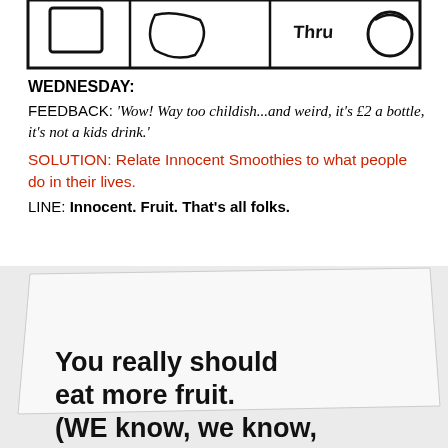[Figure (illustration): Hand-drawn comic strip panels with sketched figures, partially visible at top of page, black ink on white background]
WEDNESDAY:
FEEDBACK: 'Wow! Way too childish...and weird, it’s £2 a bottle, it’s not a kids drink.'
SOLUTION: Relate Innocent Smoothies to what people do in their lives.
LINE: Innocent. Fruit. That’s all folks.
[Figure (photo): Photograph of a smoothie bottle label or advertisement card on a light grey background, slightly askew]
You really should eat more fruit. (WE know, we know, we’re not your mum